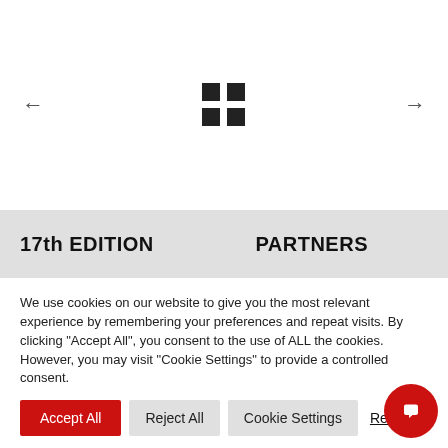[Figure (illustration): Navigation carousel section with left arrow, a 2x2 dark grid icon in the center, and right arrow. White background.]
17th EDITION    PARTNERS
We use cookies on our website to give you the most relevant experience by remembering your preferences and repeat visits. By clicking "Accept All", you consent to the use of ALL the cookies. However, you may visit "Cookie Settings" to provide a controlled consent.
Accept All
Reject All
Cookie Settings
Read M...